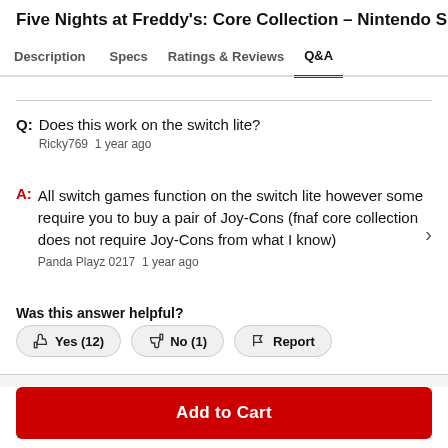Five Nights at Freddy's: Core Collection - Nintendo S
Description  Specs  Ratings & Reviews  Q&A
Q: Does this work on the switch lite?
Ricky769  1 year ago
A: All switch games function on the switch lite however some require you to buy a pair of Joy-Cons (fnaf core collection does not require Joy-Cons from what I know)
Panda Playz 0217  1 year ago
Was this answer helpful?
Yes (12)  No (1)  Report
Add to Cart